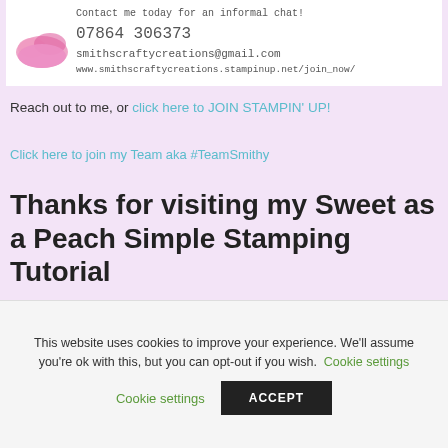[Figure (illustration): Contact information banner with pink blob graphic and handwritten-style text: 'Contact me today for an informal chat!', '07864 306373', 'smithscraftycreations@gmail.com', 'www.smithscraftycreations.stampinup.net/join_now/']
Reach out to me, or click here to JOIN STAMPIN' UP!
Click here to join my Team aka #TeamSmithy
Thanks for visiting my Sweet as a Peach Simple Stamping Tutorial
This website uses cookies to improve your experience. We'll assume you're ok with this, but you can opt-out if you wish. Cookie settings ACCEPT